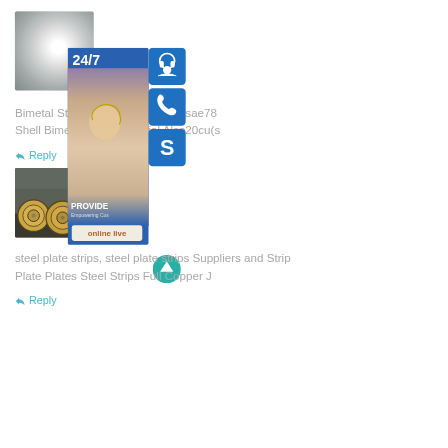[Figure (photo): Product photo of a shiny metallic sheet/plate with gradient reflection]
Bimetal Strips Material Alsn20cu(sae78 Shell Bimetal Strips Material Alsn20cu(s
↩ Reply
[Figure (photo): Photo of industrial steel coils/rolls stacked in a warehouse]
[Figure (infographic): 24/7 customer service sidebar widget with lady wearing headset, phone icon, Skype icon, and online live button]
steel plate strips, steel plate strips Suppliers and Strip Plate Plates Steel Strips Full Copper J
↩ Reply